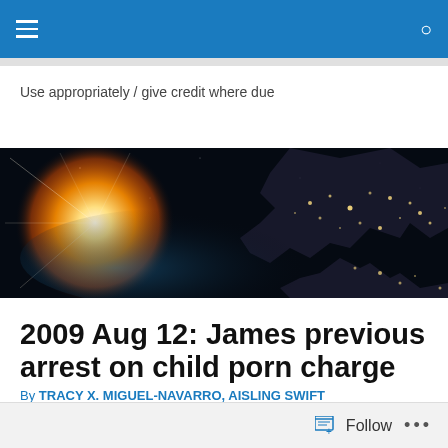Navigation bar with hamburger menu and search icon
Use appropriately / give credit where due
[Figure (photo): Space photo showing Earth at night with city lights visible on landmasses and a bright sun or sunrise on the left side against a black space background]
2009 Aug 12: James previous arrest on child porn charge
By TRACY X. MIGUEL-NAVARRO, AISLING SWIFT
Posted August 12, 2009 at 7:01 a.m.
Follow  ...